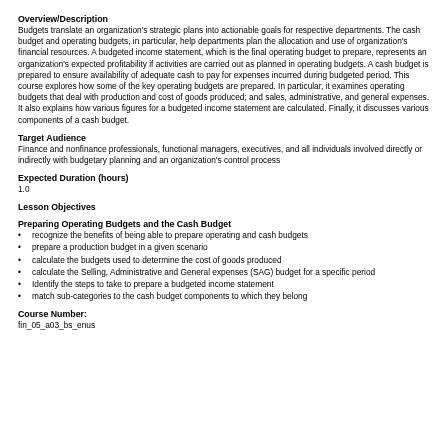Overview/Description
Budgets translate an organization's strategic plans into actionable goals for respective departments. The cash budget and operating budgets, in particular, help departments plan the allocation and use of organization's financial resources. A budgeted income statement, which is the final operating budget to prepare, represents an organization's expected profitability if activities are carried out as planned in operating budgets. A cash budget is prepared to ensure availability of adequate cash to pay for expenses incurred during budgeted period. This course explores how some of the key operating budgets are prepared. In particular, it examines operating budgets that deal with production and cost of goods produced; and sales, administrative, and general expenses. It also explains how various figures for a budgeted income statement are calculated. Finally, it discusses various components of a cash budget.
Target Audience
Finance and nonfinance professionals, functional managers, executives, and all individuals involved directly or indirectly with budgetary planning and an organization's control process
Expected Duration (hours)
1.0
Lesson Objectives
Preparing Operating Budgets and the Cash Budget
recognize the benefits of being able to prepare operating and cash budgets
prepare a production budget in a given scenario
calculate the budgets used to determine the cost of goods produced
calculate the Selling, Administrative and General expenses (SAG) budget for a specific period
Identify the steps to take to prepare a budgeted income statement
match sub-categories to the cash budget components to which they belong
Course Number:
fin_05_a03_bs_enus